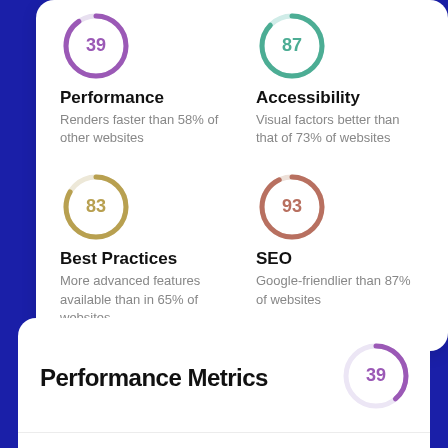[Figure (donut-chart): Performance]
Performance
Renders faster than 58% of other websites
[Figure (donut-chart): Accessibility]
Accessibility
Visual factors better than that of 73% of websites
[Figure (donut-chart): Best Practices]
Best Practices
More advanced features available than in 65% of websites
[Figure (donut-chart): SEO]
SEO
Google-friendlier than 87% of websites
Performance Metrics
[Figure (donut-chart): Performance Metrics score]
Measured Metrics